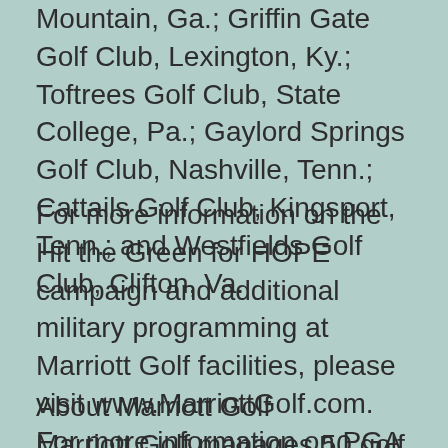Mountain, Ga.; Griffin Gate Golf Club, Lexington, Ky.; Toftrees Golf Club, State College, Pa.; Gaylord Springs Golf Club, Nashville, Tenn.; Cattails Golf Club, Kingsport, Tenn.; and Westfields Golf Club, Clifton, Va.
For more information on the Hit the Green for HOPE campaign and additional military programming at Marriott Golf facilities, please visit www.MarriottGolf.com. For more information on PGA HOPE, please visit www.pgareach.com.
About Marriott Golf
Marriott Golf manages 50 golf courses in 12